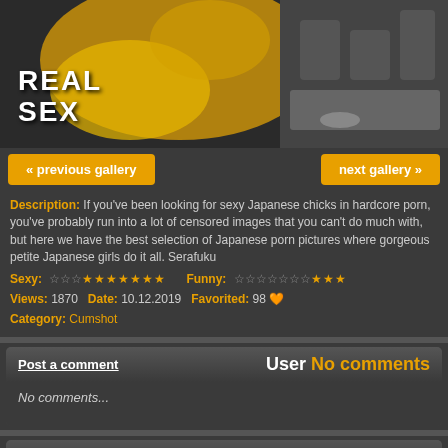[Figure (photo): Banner image with 'REAL SEX' text overlay on orange/yellow splash background with photo of person in gym]
« previous gallery    next gallery »
Description: If you've been looking for sexy Japanese chicks in hardcore porn, you've probably run into a lot of censored images that you can't do much with, but here we have the best selection of Japanese porn pictures where gorgeous petite Japanese girls do it all. Serafuku
Sexy: ☆☆☆★★★★★★★   Funny: ☆☆☆☆☆☆☆★★★
Views: 1870  Date: 10.12.2019  Favorited: 98 🧡  Category: Cumshot
Post a comment   User No comments
No comments...
More Photos
[Figure (photo): Latest Photos thumbnails: blonde woman outdoors, woman indoors]
[Figure (photo): Random Gallery thumbnail: woman in red]